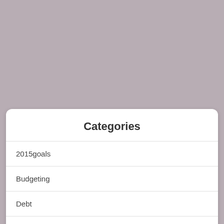[Figure (other): Gray/mauve background area occupying the top portion of the page]
Categories
2015goals
Budgeting
Debt
Increase Income